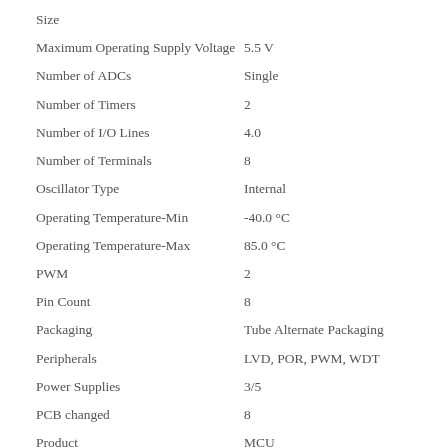| Property | Value |
| --- | --- |
| Size |  |
| Maximum Operating Supply Voltage | 5.5 V |
| Number of ADCs | Single |
| Number of Timers | 2 |
| Number of I/O Lines | 4.0 |
| Number of Terminals | 8 |
| Oscillator Type | Internal |
| Operating Temperature-Min | -40.0 °C |
| Operating Temperature-Max | 85.0 °C |
| PWM | 2 |
| Pin Count | 8 |
| Packaging | Tube Alternate Packaging |
| Peripherals | LVD, POR, PWM, WDT |
| Power Supplies | 3/5 |
| PCB changed | 8 |
| Product | MCU |
| Product Type | 8-bit Microcontrollers - MCU |